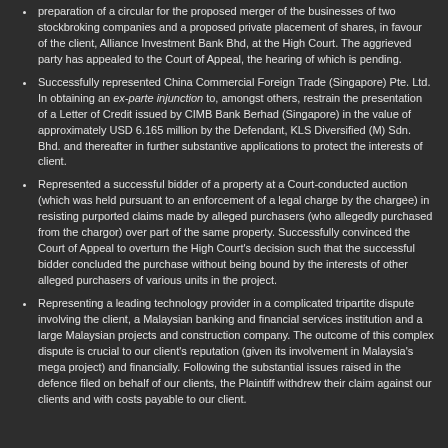preparation of a circular for the proposed merger of the businesses of two stockbroking companies and a proposed private placement of shares, in favour of the client, Alliance Investment Bank Bhd, at the High Court. The aggrieved party has appealed to the Court of Appeal, the hearing of which is pending.
Successfully represented China Commercial Foreign Trade (Singapore) Pte. Ltd. In obtaining an ex-parte injunction to, amongst others, restrain the presentation of a Letter of Credit issued by CIMB Bank Berhad (Singapore) in the value of approximately USD 6.165 million by the Defendant, KLS Diversified (M) Sdn. Bhd. and thereafter in further substantive applications to protect the interests of client.
Represented a successful bidder of a property at a Court-conducted auction (which was held pursuant to an enforcement of a legal charge by the chargee) in resisting purported claims made by alleged purchasers (who allegedly purchased from the chargor) over part of the same property. Successfully convinced the Court of Appeal to overturn the High Court's decision such that the successful bidder concluded the purchase without being bound by the interests of other alleged purchasers of various units in the project.
Representing a leading technology provider in a complicated tripartite dispute involving the client, a Malaysian banking and financial services institution and a large Malaysian projects and construction company. The outcome of this complex dispute is crucial to our client's reputation (given its involvement in Malaysia's mega project) and financially. Following the substantial issues raised in the defence filed on behalf of our clients, the Plaintiff withdrew their claim against our clients and with costs payable to our client.